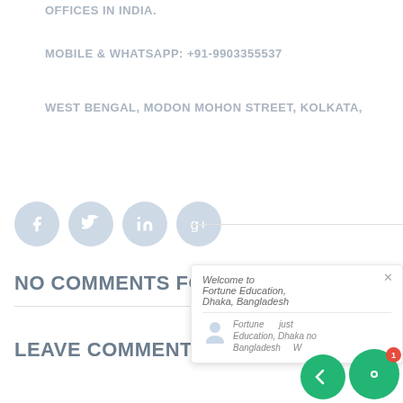OFFICES IN INDIA.
MOBILE & WHATSAPP: +91-9903355537
WEST BENGAL, MODON MOHON STREET, KOLKATA,
[Figure (other): Social media icons: Facebook, Twitter, LinkedIn, Google+]
NO COMMENTS FOUND
LEAVE COMMENT